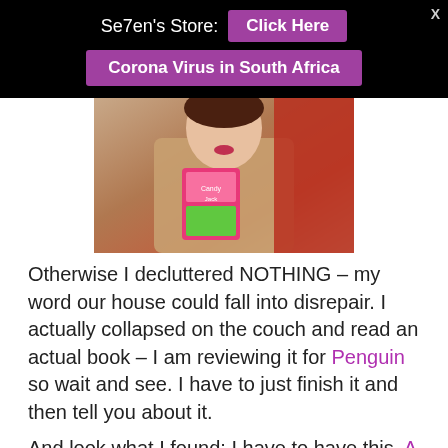Se7en's Store: Click Here | Corona Virus in South Africa
[Figure (photo): A person holding a colorful cereal/snack box, wearing a beige coat, with red fabric visible in the background.]
Otherwise I decluttered NOTHING – my word our house could fall into disrepair. I actually collapsed on the couch and read an actual book – I am reviewing it for Penguin so wait and see. I have to just finish it and then tell you about it.
And look what I found: I have to have this. A kid proof camera, you have to see the abuse this camera goes through and know that my sweet camera is battling to hold it's own! Follow the link and watch the video, I insist. – my camera goes through this sort of damage on